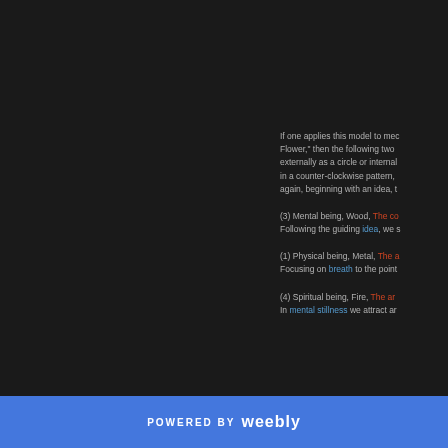If one applies this model to med Flower," then the following two externally as a circle or internal in a counter-clockwise pattern, again, beginning with an idea, t
(3) Mental being, Wood, The co Following the guiding idea, we s
(1) Physical being, Metal, The a Focusing on breath to the point
(4) Spiritual being, Fire, The ar In mental stillness we attract ar
POWERED BY weebly